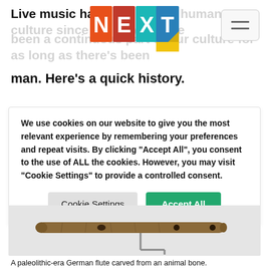Live music has been part of human culture since the dawn of man. Here's a quick history.
[Figure (logo): NEXT logo with colorful letter tiles N (orange), E (red), X (teal), T (blue) on colored squares, with a yellow folded corner]
man. Here’s a quick history.
We use cookies on our website to give you the most relevant experience by remembering your preferences and repeat visits. By clicking “Accept All”, you consent to the use of ALL the cookies. However, you may visit "Cookie Settings" to provide a controlled consent.
[Figure (photo): A paleolithic-era German flute carved from an animal bone, displayed on a metal stand against a light gray background]
A paleolithic-era German flute carved from an animal bone.